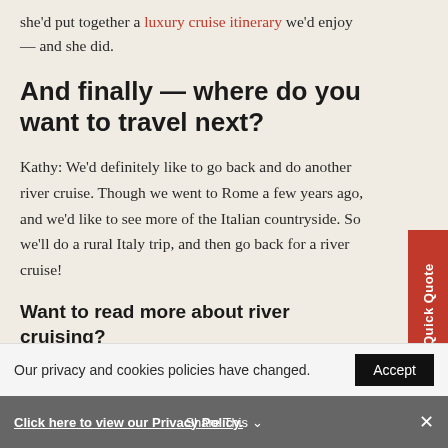she'd put together a luxury cruise itinerary we'd enjoy — and she did.
And finally — where do you want to travel next?
Kathy: We'd definitely like to go back and do another river cruise. Though we went to Rome a few years ago, and we'd like to see more of the Italian countryside. So we'll do a rural Italy trip, and then go back for a river cruise!
Want to read more about river cruising?
Read about our clients' Gordon and Carol's river cruise through breathtaking
Our privacy and cookies policies have changed.
Click here to view our Privacy Policy.
Share This